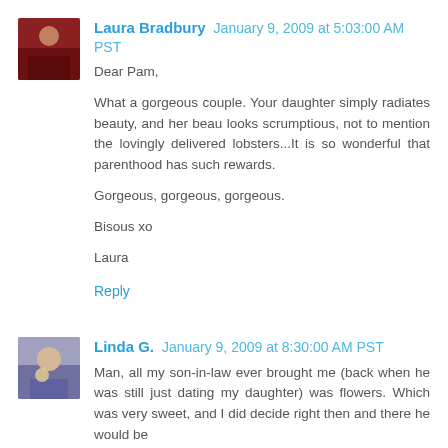Laura Bradbury January 9, 2009 at 5:03:00 AM PST
Dear Pam,

What a gorgeous couple. Your daughter simply radiates beauty, and her beau looks scrumptious, not to mention the lovingly delivered lobsters...It is so wonderful that parenthood has such rewards.

Gorgeous, gorgeous, gorgeous.

Bisous xo

Laura
Reply
Linda G. January 9, 2009 at 8:30:00 AM PST
Man, all my son-in-law ever brought me (back when he was still just dating my daughter) was flowers. Which was very sweet, and I did decide right then and there he would be